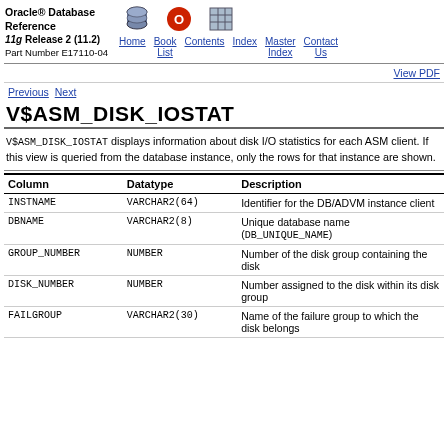Oracle® Database Reference 11g Release 2 (11.2) Part Number E17110-04
View PDF
Previous  Next
V$ASM_DISK_IOSTAT
V$ASM_DISK_IOSTAT displays information about disk I/O statistics for each ASM client. If this view is queried from the database instance, only the rows for that instance are shown.
| Column | Datatype | Description |
| --- | --- | --- |
| INSTNAME | VARCHAR2(64) | Identifier for the DB/ADVM instance client |
| DBNAME | VARCHAR2(8) | Unique database name (DB_UNIQUE_NAME) |
| GROUP_NUMBER | NUMBER | Number of the disk group containing the disk |
| DISK_NUMBER | NUMBER | Number assigned to the disk within its disk group |
| FAILGROUP | VARCHAR2(30) | Name of the failure group to which the disk belongs |